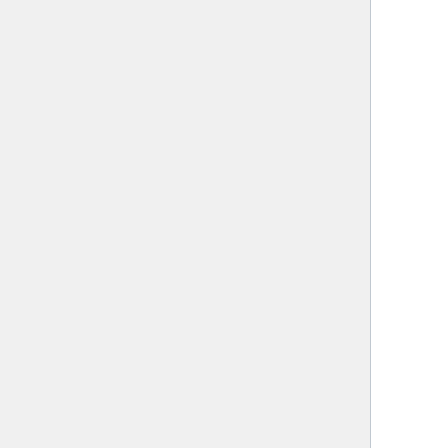common crowdsourcing problems. Instead, the platforms offering crowdsourcing, such as Mechanical Turk, address these problems internally. 99designs--a website that allows people to solicit creative logo designs--has several policies regulating the behavior of those who request[42] and perform[43] work. Most crowdsourcing services have similar policies or recommendations. In January 2010, a small group of students from Harvard Law School and Stanford Law School gathered in Palo Alto for three weeks to talk about these more general problems. They produced a document of Best Practices (Class 3), which sought to identify and propose a framework to address problems endemic to crowdsourcing. That document identified